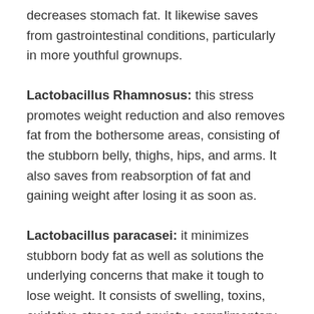decreases stomach fat. It likewise saves from gastrointestinal conditions, particularly in more youthful grownups.
Lactobacillus Rhamnosus: this stress promotes weight reduction and also removes fat from the bothersome areas, consisting of the stubborn belly, thighs, hips, and arms. It also saves from reabsorption of fat and gaining weight after losing it as soon as.
Lactobacillus paracasei: it minimizes stubborn body fat as well as solutions the underlying concerns that make it tough to lose weight. It consists of swelling, toxins, oxidative stress and anxiety, complimentary radicals, and others.